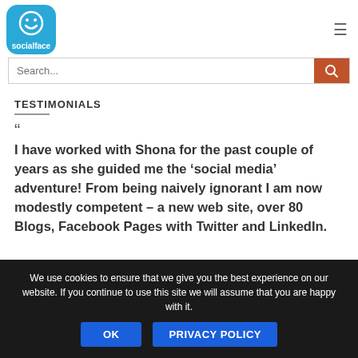[Figure (logo): Socialface logo: blue rounded square with white smiley face icon and text 'socialface']
TESTIMONIALS
“

I have worked with Shona for the past couple of years as she guided me the ‘social media’ adventure! From being naively ignorant I am now modestly competent – a new web site, over 80 Blogs, Facebook Pages with Twitter and LinkedIn.
We use cookies to ensure that we give you the best experience on our website. If you continue to use this site we will assume that you are happy with it.